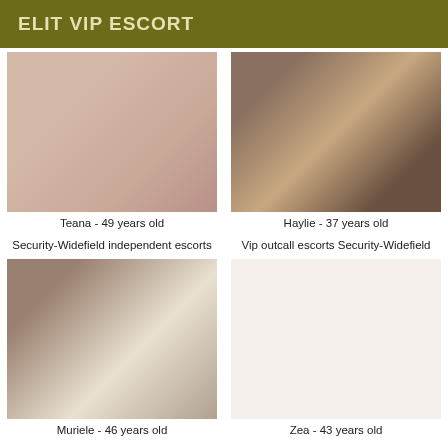ELIT VIP ESCORT
[Figure (photo): Photo placeholder for Teana]
Teana - 49 years old
[Figure (photo): Photo placeholder for Haylie]
Haylie - 37 years old
Security-Widefield independent escorts
Vip outcall escorts Security-Widefield
[Figure (photo): Photo placeholder for Muriele]
Muriele - 46 years old
Zea - 43 years old